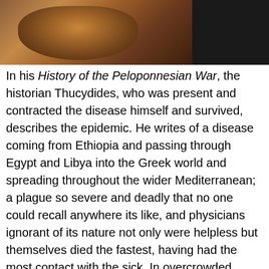[Figure (photo): Photograph of a bust or statue of an ancient bearded man (likely Thucydides), with dark background on the right side, against a dark background.]
In his History of the Peloponnesian War, the historian Thucydides, who was present and contracted the disease himself and survived, describes the epidemic. He writes of a disease coming from Ethiopia and passing through Egypt and Libya into the Greek world and spreading throughout the wider Mediterranean; a plague so severe and deadly that no one could recall anywhere its like, and physicians ignorant of its nature not only were helpless but themselves died the fastest, having had the most contact with the sick. In overcrowded Athens, the disease killed an estimated 25% of the population. The sight of the burning funeral pyres of Athens caused the Spartans to withdraw their troops, being unwilling to risk contact with the diseased enemy. Many of Athens' infantry and expert seamen died. According to Thucydides, not until 415 BC